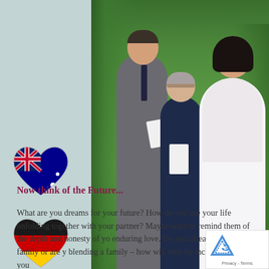[Figure (photo): Wedding ceremony photo showing a groom in grey suit, officiant in navy holding papers, and bride in white strapless dress, all standing outdoors among green tropical trees. Left sidebar shows Australian flag heart, German flag heart, and rainbow Pride flag heart overlaid on a teal/grey background.]
dewayz, Love Bird Ceremonies Marriage Celebrant Perth
Now think of the Future...
What are you dreams for your future? How do you see your life unfolding together with your partner? Maybe want to remind them of the depth and honesty of yo enduring love. Do you already have a family or are y blending a family – how will they be included and do you